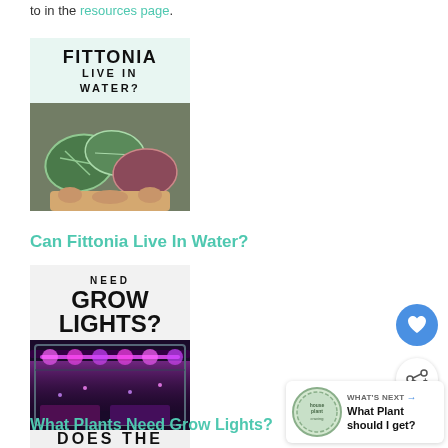to in the resources page.
[Figure (photo): Fittonia plant card: text 'FITTONIA LIVE IN WATER?' on light green background with photo of someone holding fittonia plants]
Can Fittonia Live In Water?
[Figure (photo): Grow lights card: text 'NEED GROW LIGHTS?' on light gray background with photo of purple/pink grow lights]
What Plants Need Grow Lights?
[Figure (photo): Partial card showing text 'DOES THE']